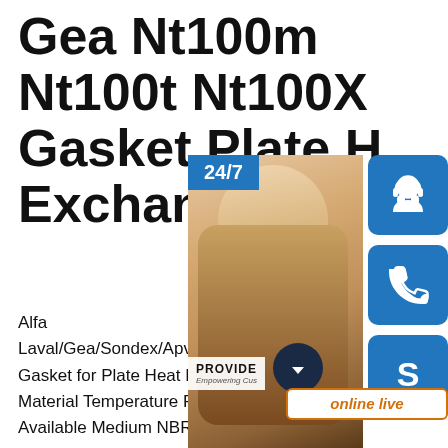Gea Nt100m Nt100t Nt100X Gasket Plate Heat Exchanger
Alfa Laval/Gea/Sondex/Apv/API/T Gasket
Gasket for Plate Heat Exchanger. Gas Material Temperature Range ( C ) Hardness Available Medium NBR -20 to 110 -75+/-3 Water, Oil, Acid etc. EPDM -30 to 150 80+/-5 Steam, Ammonia, Acid etc. NBR-HT -30 to 160 85+/-5 Mineral Oil, Thermal Oil
GEA:FA184.N40.NT100M.NT100T.NT100X.NT150L.NT1
[Figure (infographic): Customer service overlay panel showing a woman with a headset, 24/7 label in blue, three blue square icons (headset, phone, Skype), PROVIDE Empowering Customers tagline, and an orange-outlined 'online live' button]